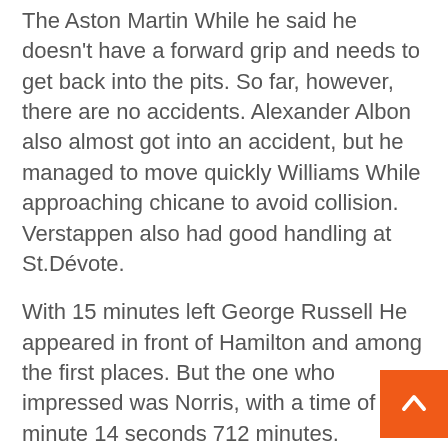The Aston Martin While he said he doesn't have a forward grip and needs to get back into the pits. So far, however, there are no accidents. Alexander Albon also almost got into an accident, but he managed to move quickly Williams While approaching chicane to avoid collision. Verstappen also had good handling at St.Dévote.
With 15 minutes left George Russell He appeared in front of Hamilton and among the first places. But the one who impressed was Norris, with a time of 1 minute 14 seconds 712 minutes.
From average back to Ferrari Walk forward again. Sainz started the fast lap well, but put his foot up at the start. Leclerc, NO: The home rider cut 1 minute seconds 531 seconds and jumped to the top spot. Sergio Perez came in second with red bull, dropping
[Figure (other): Orange scroll-to-top button with white chevron/arrow pointing upward, positioned at bottom right of the page.]